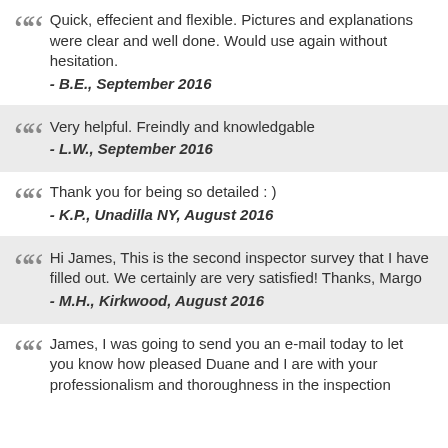Quick, effecient and flexible. Pictures and explanations were clear and well done. Would use again without hesitation. - B.E., September 2016
Very helpful. Freindly and knowledgable - L.W., September 2016
Thank you for being so detailed : ) - K.P., Unadilla NY, August 2016
Hi James, This is the second inspector survey that I have filled out. We certainly are very satisfied! Thanks, Margo - M.H., Kirkwood, August 2016
James, I was going to send you an e-mail today to let you know how pleased Duane and I are with your professionalism and thoroughness in the inspection